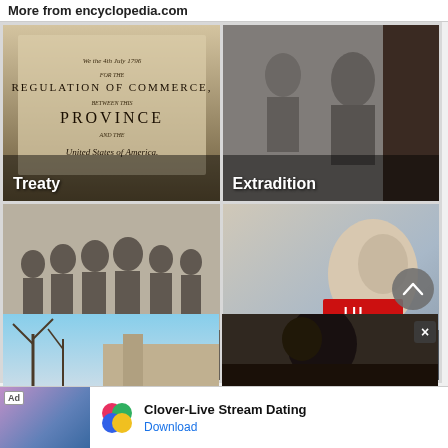More from encyclopedia.com
[Figure (photo): Historical document titled Regulation of Commerce between Province and United States of America, dated July 1796]
[Figure (photo): Black and white photo of a person being escorted, related to extradition]
[Figure (photo): Black and white photo of military officers gathered around a table signing a document, ANZUS Treaty]
[Figure (photo): Color photo of a young woman with red tape over her mouth, Treaty of Brussels protest]
[Figure (photo): Partial view of outdoor scene with bare trees and blue sky]
[Figure (photo): Partial black and white photo, partially obscured by ad banner]
Ad  Clover-Live Stream Dating  Download